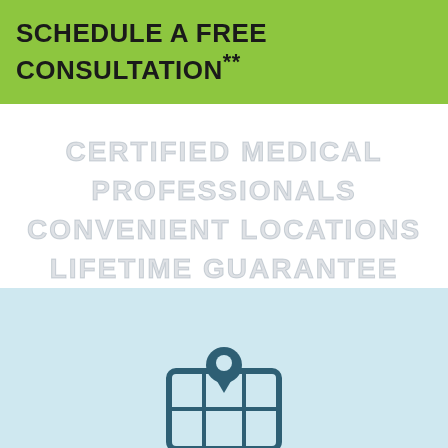SCHEDULE A FREE CONSULTATION**
CERTIFIED MEDICAL PROFESSIONALS
CONVENIENT LOCATIONS
LIFETIME GUARANTEE
[Figure (illustration): Map location pin icon over a grid/map panel — teal/dark teal colored icon on light blue background]
By continuing to browse this website you are agreeing to accept our privacy policy which includes the use of cookies to analyze and improve our marketing efforts.